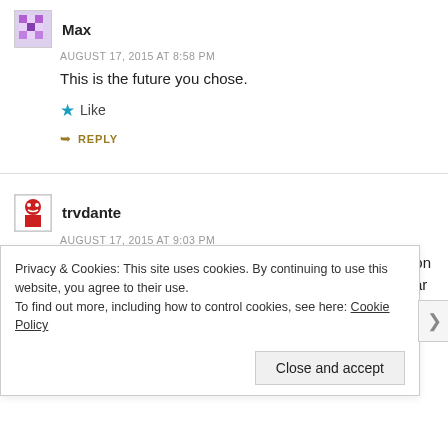Max
AUGUST 17, 2015 AT 8:58 PM
This is the future you chose.
Like
REPLY
trvdante
AUGUST 17, 2015 AT 9:03 PM
Mild correction- we call them “dindus” which is a play on “HE A GOOD BOY, HE DINDU NUFFIN” which we hear from your beloved blacks every time a cop has to put one
Privacy & Cookies: This site uses cookies. By continuing to use this website, you agree to their use.
To find out more, including how to control cookies, see here: Cookie Policy
Close and accept